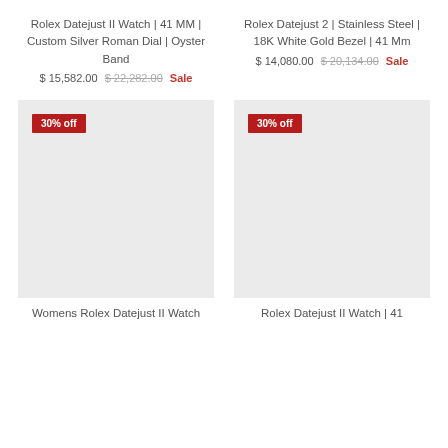Rolex Datejust II Watch | 41 MM | Custom Silver Roman Dial | Oyster Band
$ 15,582.00  $ 22,282.00  Sale
Rolex Datejust 2 | Stainless Steel | 18K White Gold Bezel | 41 Mm
$ 14,080.00  $ 20,134.00  Sale
[Figure (photo): Product image placeholder with 30% off badge, left column]
[Figure (photo): Product image placeholder with 30% off badge, right column]
Womens Rolex Datejust II Watch
Rolex Datejust II Watch | 41